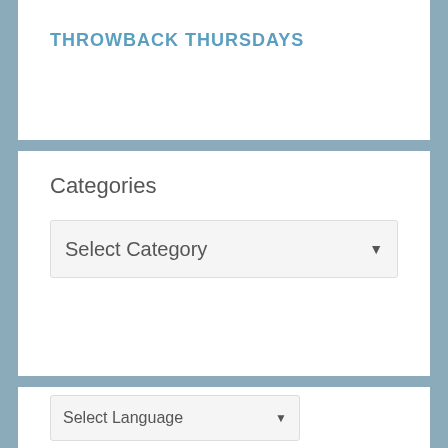THROWBACK THURSDAYS
Categories
Select Category
Select Language
Powered by Google Translate
Follow Us